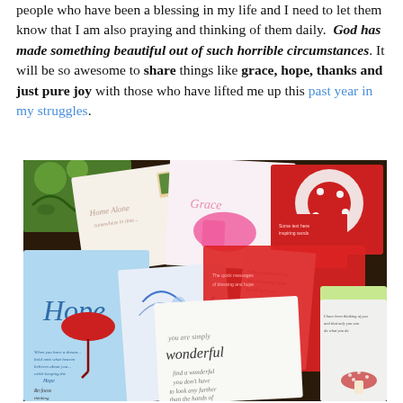people who have been a blessing in my life and I need to let them know that I am also praying and thinking of them daily. God has made something beautiful out of such horrible circumstances. It will be so awesome to share things like grace, hope, thanks and just pure joy with those who have lifted me up this past year in my struggles.
[Figure (photo): A photograph of a collection of greeting cards spread out on a table, including cards with words like 'Hope', 'Grace', and 'you are simply wonderful', along with various colorful designs.]